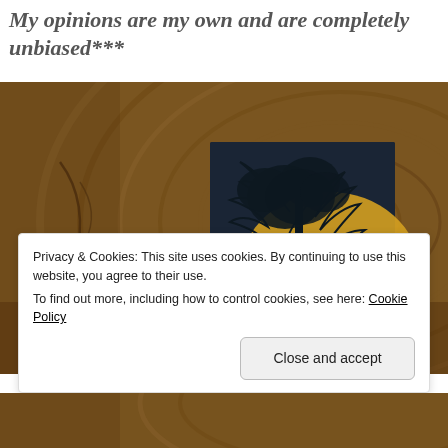My opinions are my own and are completely unbiased***
[Figure (photo): A book with a dark cover featuring a yellow tree silhouette, placed on a wooden log cross-section background.]
Privacy & Cookies: This site uses cookies. By continuing to use this website, you agree to their use.
To find out more, including how to control cookies, see here: Cookie Policy
[Figure (photo): Bottom portion of another photo below the cookie banner.]